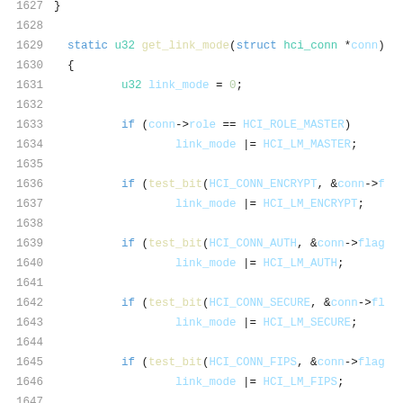Source code listing, lines 1627-1647, showing get_link_mode function in C
1627    }
1628
1629    static u32 get_link_mode(struct hci_conn *conn)
1630    {
1631            u32 link_mode = 0;
1632
1633            if (conn->role == HCI_ROLE_MASTER)
1634                    link_mode |= HCI_LM_MASTER;
1635
1636            if (test_bit(HCI_CONN_ENCRYPT, &conn->f
1637                    link_mode |= HCI_LM_ENCRYPT;
1638
1639            if (test_bit(HCI_CONN_AUTH, &conn->flag
1640                    link_mode |= HCI_LM_AUTH;
1641
1642            if (test_bit(HCI_CONN_SECURE, &conn->fl
1643                    link_mode |= HCI_LM_SECURE;
1644
1645            if (test_bit(HCI_CONN_FIPS, &conn->flag
1646                    link_mode |= HCI_LM_FIPS;
1647